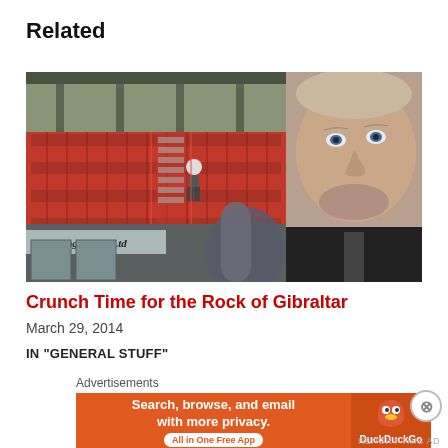Related
[Figure (photo): A man being interviewed at a football stadium with red stadium seats visible in the background. A sign reading 'Glazing Works Ltd' is partially visible. The man is wearing a black jacket.]
Crunch Time for the Rock of Gibraltar
March 29, 2014
IN "GENERAL STUFF"
Advertisements
[Figure (other): DuckDuckGo advertisement banner: 'Search, browse, and email with more privacy. All in One Free App' with DuckDuckGo duck logo on orange background.]